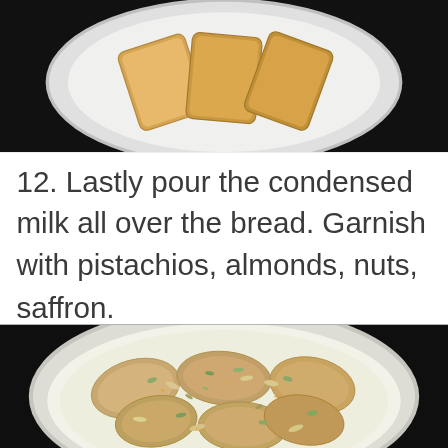[Figure (photo): Toasted bread slices arranged on a white round plate, photographed on a dark background. Top portion of the image visible.]
12. Lastly pour the condensed milk all over the bread. Garnish with pistachios, almonds, nuts, saffron.
[Figure (photo): A white bowl filled with bread pieces soaked in condensed milk, garnished with sliced pistachios, almonds, and other nuts, photographed from above on a dark background.]